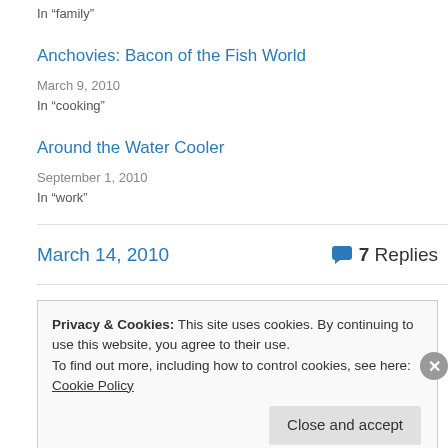In "family"
Anchovies: Bacon of the Fish World
March 9, 2010
In "cooking"
Around the Water Cooler
September 1, 2010
In "work"
March 14, 2010
7 Replies
Privacy & Cookies: This site uses cookies. By continuing to use this website, you agree to their use.
To find out more, including how to control cookies, see here: Cookie Policy